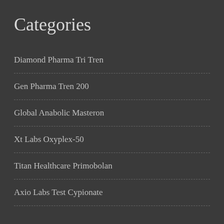Categories
Diamond Pharma Tri Tren
Gen Pharma Tren 200
Global Anabolic Masteron
Xt Labs Oxyplex-50
Titan Healthcare Primobolan
Axio Labs Test Cypionate
Newsletter
Sign up to our newsletter to receive exclusive first…